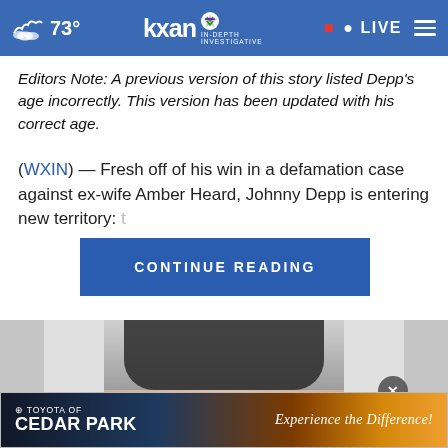73° KXAN IN-DEPTH INVESTIGATIVE • LIVE
Editors Note: A previous version of this story listed Depp's age incorrectly. This version has been updated with his correct age.
(WXIN) — Fresh off of his win in a defamation case against ex-wife Amber Heard, Johnny Depp is entering new territory:
[Figure (screenshot): CONTINUE READING button in blue]
[Figure (photo): Partial photo of a person, cropped, with a close (X) button overlay]
[Figure (infographic): Toyota of Cedar Park advertisement banner with mountain sunset background and tagline 'Experience the Difference!']